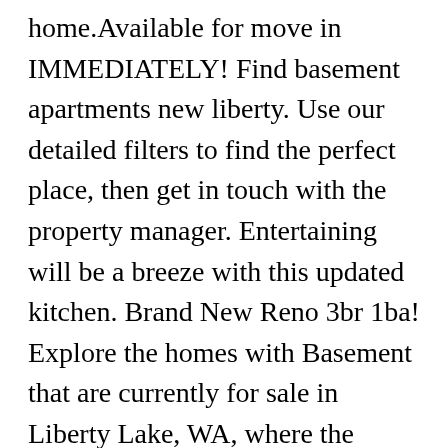home.Available for move in IMMEDIATELY! Find basement apartments new liberty. Use our detailed filters to find the perfect place, then get in touch with the property manager. Entertaining will be a breeze with this updated kitchen. Brand New Reno 3br 1ba! Explore the homes with Basement that are currently for sale in Liberty Lake, WA, where the average value of nearby homes with Basement are $439950. BRAND NEW TO THE MARKET! $400. Refine your search by using the filter at the top of the page to view 1, 2 or 3+ bedroom Apartments for rent in 11419 South Richmond Hill, NYas well as cheap Apartments, pet friendly Apartments, Apartments with utilities